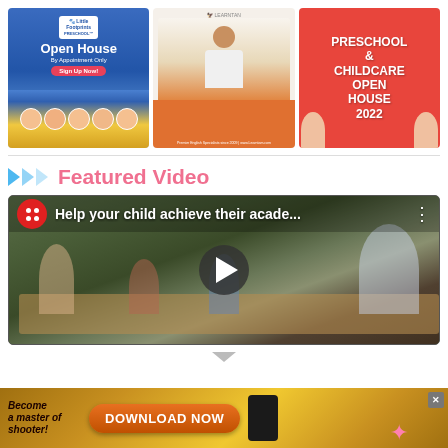[Figure (photo): Little Footprints Preschool Open House advertisement with children and blue background]
[Figure (photo): Teacher with laptop in classroom, orange background below]
[Figure (photo): Preschool and Childcare Open House 2022 advertisement on red background with kids]
Featured Video
[Figure (screenshot): Video thumbnail showing Help your child achieve their acade... with play button overlay, classroom scene with teacher and students]
[Figure (photo): Advertisement banner: Become a master of shooter! DOWNLOAD NOW button on gold background]